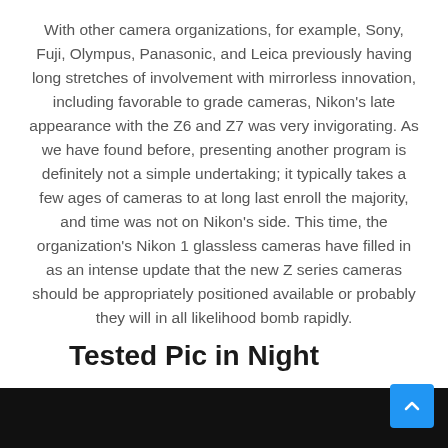With other camera organizations, for example, Sony, Fuji, Olympus, Panasonic, and Leica previously having long stretches of involvement with mirrorless innovation, including favorable to grade cameras, Nikon's late appearance with the Z6 and Z7 was very invigorating. As we have found before, presenting another program is definitely not a simple undertaking; it typically takes a few ages of cameras to at long last enroll the majority, and time was not on Nikon's side. This time, the organization's Nikon 1 glassless cameras have filled in as an intense update that the new Z series cameras should be appropriately positioned available or probably they will in all likelihood bomb rapidly.
Tested Pic in Night
[Figure (photo): Dark night photograph strip at the bottom of the page]